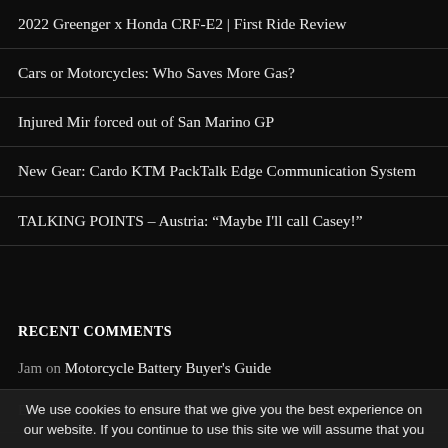2022 Greenger x Honda CRF-E2 | First Ride Review
Cars or Motorcycles: Who Saves More Gas?
Injured Mir forced out of San Marino GP
New Gear: Cardo KTM PackTalk Edge Communication System
TALKING POINTS – Austria: “Maybe I'll call Casey!”
RECENT COMMENTS
Jam on Motorcycle Battery Buyer's Guide
Ernest Burden on Michelin Road 6 GT Tires | Gear Review
Mike on 2020 Yamaha Tricity 300 | 300cc three-wheel scooter
Dennis Johnstone on Triumph To Resurrect Discontinued Commer's
We use cookies to ensure that we give you the best experience on our website. If you continue to use this site we will assume that you